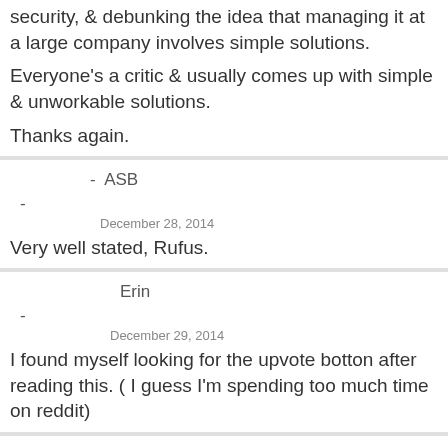security, & debunking the idea that managing it at a large company involves simple solutions.
Everyone's a critic & usually comes up with simple & unworkable solutions.
Thanks again.
- ASB
-
December 28, 2014
Very well stated, Rufus.
Erin
-
December 29, 2014
I found myself looking for the upvote botton after reading this. ( I guess I'm spending too much time on reddit)
soyweiser
December 28, 2014
Cowards sounds a bit harsh. Not really all that